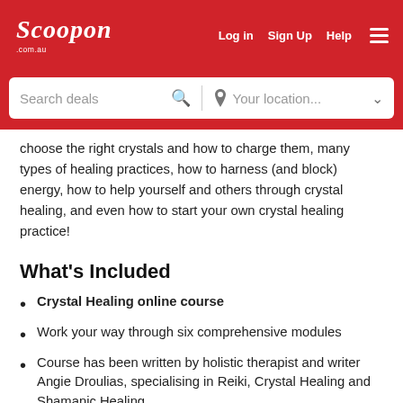Scoopon.com.au | Log in | Sign Up | Help
choose the right crystals and how to charge them, many types of healing practices, how to harness (and block) energy, how to help yourself and others through crystal healing, and even how to start your own crystal healing practice!
What's Included
Crystal Healing online course
Work your way through six comprehensive modules
Course has been written by holistic therapist and writer Angie Droulias, specialising in Reiki, Crystal Healing and Shamanic Healing
24/7 access, with PDF certificate upon completion
Valid f...